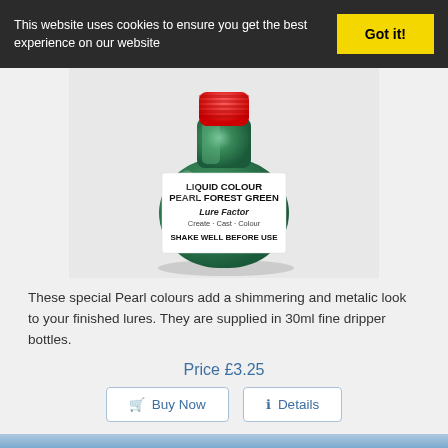This website uses cookies to ensure you get the best experience on our website
Got it!
[Figure (photo): A small round bottle with a red cap containing Liquid Colour Pearl Forest Green, with a white label showing 'LIQUID COLOUR PEARL FOREST GREEN', 'Lure Factor', 'Create · Cast · Colour', and 'SHAKE WELL BEFORE USE'. The bottle has a metallic green appearance.]
These special Pearl colours add a shimmering and metalic look to your finished lures. They are supplied in 30ml fine dripper bottles.
Price £3.25
Buy Now
Details